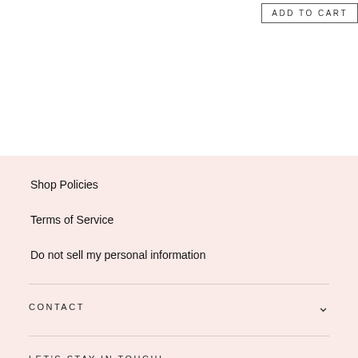ADD TO CART
Shop Policies
Terms of Service
Do not sell my personal information
CONTACT
LET'S STAY IN TOUCH!
[Figure (other): Payment method icons: American Express, Apple Pay, Diners Club, Discover, Google Pay, Mastercard, PayPal, Shop Pay, Visa]
[Figure (logo): App icon with coin/camera emoji on pink background]
© 2022 OnceMoreWithLove